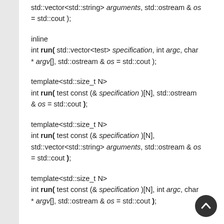std::vector<std::string> arguments, std::ostream & os = std::cout );
inline
int run( std::vector<test> specification, int argc, char * argv[], std::ostream & os = std::cout );
template<std::size_t N>
int run( test const (& specification )[N], std::ostream & os = std::cout );
template<std::size_t N>
int run( test const (& specification )[N], std::vector<std::string> arguments, std::ostream & os = std::cout );
template<std::size_t N>
int run( test const (& specification )[N], int argc, char * argv[], std::ostream & os = std::cout );